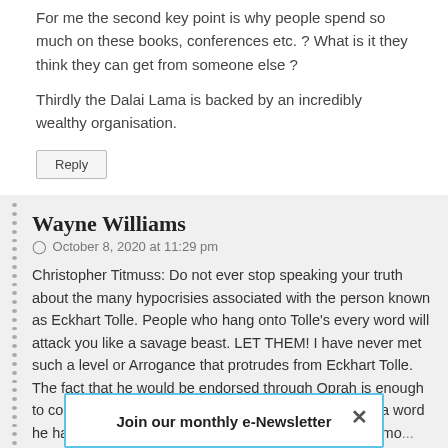For me the second key point is why people spend so much on these books, conferences etc. ? What is it they think they can get from someone else ?
Thirdly the Dalai Lama is backed by an incredibly wealthy organisation.
Reply
Wayne Williams
October 8, 2020 at 11:29 pm
Christopher Titmuss: Do not ever stop speaking your truth about the many hypocrisies associated with the person known as Eckhart Tolle. People who hang onto Tolle's every word will attack you like a savage beast. LET THEM! I have never met such a level or Arrogance that protrudes from Eckhart Tolle. The fact that he would be endorsed through Oprah is enough to convince me that I would never personally consider a word he has to say. If the student... never be mo...
Join our monthly e-Newsletter